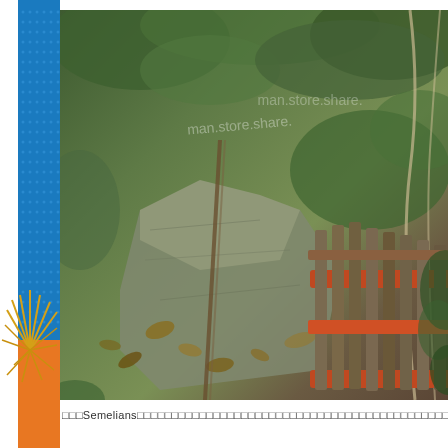[Figure (photo): Outdoor forest scene showing a wooden ladder/gate structure leaning against mossy rocks and stone surface, surrounded by green foliage, fallen leaves, and tree branches. An orange-framed wooden slatted structure is visible on the right side. Watermark text visible on the image.]
□□□Semelians□□□□□□□□□□□□□□□□□□□□□□□□□□□□□□□□□□□□□□□□□□□□□□□□